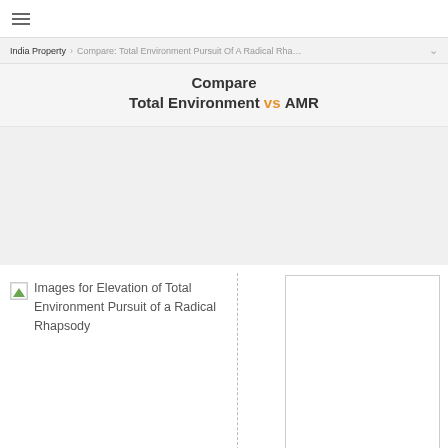≡
India Property › Compare: Total Environment Pursuit Of A Radical Rha… ∨
Compare
Total Environment vs AMR
[Figure (illustration): Gray placeholder area representing a content/loading region]
[Figure (photo): Broken image icon with green triangle, labeled: Images for Elevation of Total Environment Pursuit of a Radical Rhapsody]
[Figure (photo): Empty white image placeholder box on the right side]